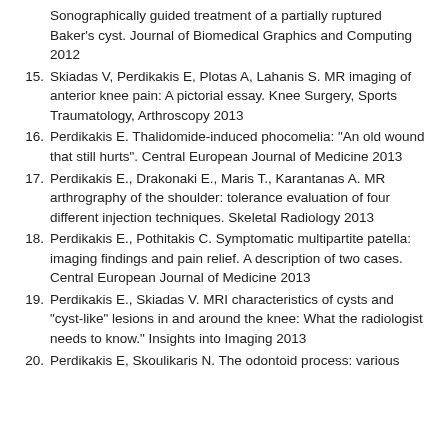Sonographically guided treatment of a partially ruptured Baker's cyst. Journal of Biomedical Graphics and Computing 2012
15. Skiadas V, Perdikakis E, Plotas A, Lahanis S. MR imaging of anterior knee pain: A pictorial essay. Knee Surgery, Sports Traumatology, Arthroscopy 2013
16. Perdikakis E. Thalidomide-induced phocomelia: "An old wound that still hurts". Central European Journal of Medicine 2013
17. Perdikakis E., Drakonaki E., Maris T., Karantanas A. MR arthrography of the shoulder: tolerance evaluation of four different injection techniques. Skeletal Radiology 2013
18. Perdikakis E., Pothitakis C. Symptomatic multipartite patella: imaging findings and pain relief. A description of two cases. Central European Journal of Medicine 2013
19. Perdikakis E., Skiadas V. MRI characteristics of cysts and "cyst-like" lesions in and around the knee: What the radiologist needs to know." Insights into Imaging 2013
20. Perdikakis E, Skoulikaris N. The odontoid process: various